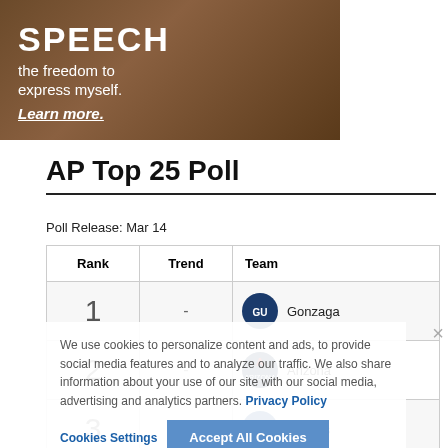[Figure (photo): Advertisement banner showing a person with text 'SPEECH the freedom to express myself. Learn more.']
AP Top 25 Poll
Poll Release: Mar 14
| Rank | Trend | Team |
| --- | --- | --- |
| 1 | - | Gonzaga |
| 2 | - | Arizona |
| 3 | ↑ 3 | Kansas |
| 4 | ↓ 1 | Baylor |
We use cookies to personalize content and ads, to provide social media features and to analyze our traffic. We also share information about your use of our site with our social media, advertising and analytics partners. Privacy Policy
Cookies Settings   Accept All Cookies